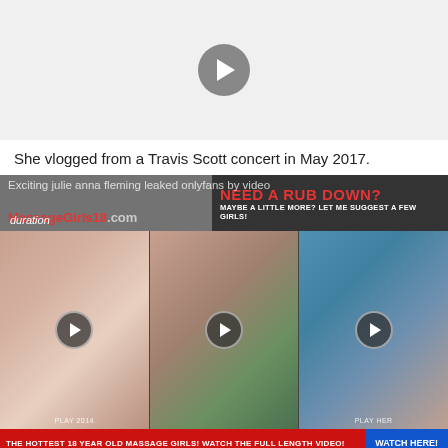[Figure (other): Video player placeholder with gray background and play button]
She vlogged from a Travis Scott concert in May 2017.
[Figure (other): Advertisement banner overlay with MassageGirls18.com logo and 'NEED A RUB DOWN? MAYBE A LITTLE MORE? LET ME SUGGEST A FEW GIRLS!' text, with video thumbnails below showing play buttons and labels PLAY 2014 and PLAY HER]
Julie is originated from United States.